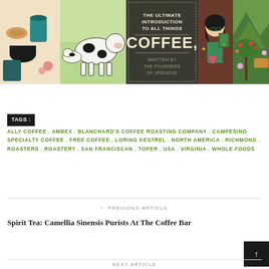[Figure (illustration): Banner image promoting 'The Ultimate Introduction To All Things Coffee, Written By The Founders Of Sprudge' with illustrated panels showing coffee, dairy cows, a woman, and coffee farm.]
TAGS : ALLY COFFEE . AMBEX . BLANCHARD'S COFFEE ROASTING COMPANY . CAMPESINO SPECIALTY COFFEE . FREE COFFEE . LORING KESTREL . NORTH AMERICA . RICHMOND . ROASTERS . ROASTERY . SAN FRANCISCAN . TOPER . USA . VIRGINIA . WHOLE FOODS
‹ PREVIOUS ARTICLE
Spirit Tea: Camellia Sinensis Purists At The Coffee Bar
NEXT ARTICLE